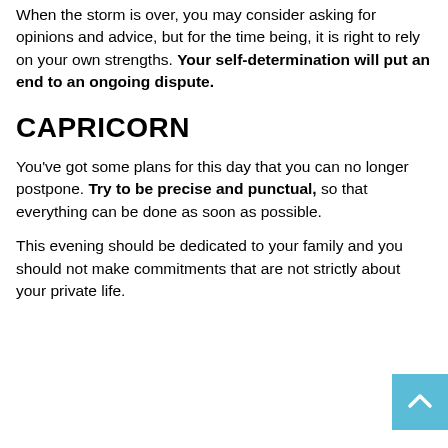When the storm is over, you may consider asking for opinions and advice, but for the time being, it is right to rely on your own strengths. Your self-determination will put an end to an ongoing dispute.
CAPRICORN
You've got some plans for this day that you can no longer postpone. Try to be precise and punctual, so that everything can be done as soon as possible.
This evening should be dedicated to your family and you should not make commitments that are not strictly about your private life.